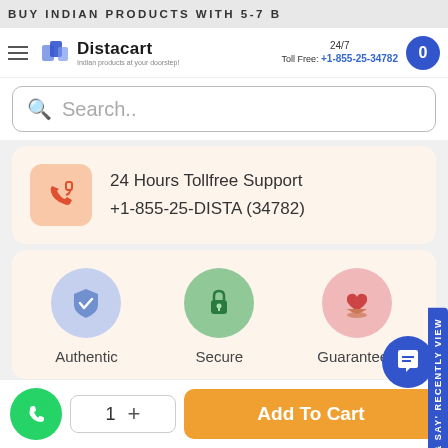BUY INDIAN PRODUCTS WITH 5-7 B
[Figure (logo): Distacart logo with cart icon and tagline 'Indian products at your doorstep!']
24/7 Toll Free: +1-855-25-34782
Search..
24 Hours Tollfree Support
+1-855-25-DISTA (34782)
[Figure (infographic): Three trust icons: Authentic (blue shield checkmark), Secure (green lock), Guaranteed (pink heart hands)]
Authentic   Secure   Guaranteed
1   +   Add To Cart